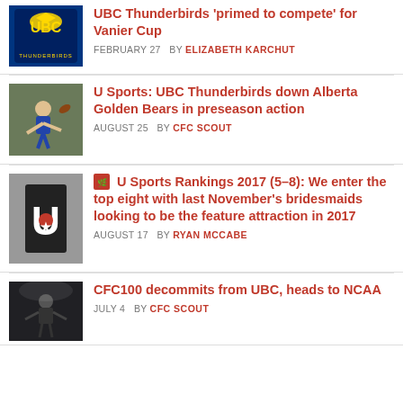[Figure (photo): UBC Thunderbirds logo - blue and gold bird with UBC letters]
UBC Thunderbirds 'primed to compete' for Vanier Cup
FEBRUARY 27  BY ELIZABETH KARCHUT
[Figure (photo): Football player throwing a pass during a game]
U Sports: UBC Thunderbirds down Alberta Golden Bears in preseason action
AUGUST 25  BY CFC SCOUT
[Figure (logo): U Sports logo - black U with red maple leaf]
U Sports Rankings 2017 (5–8): We enter the top eight with last November's bridesmaids looking to be the feature attraction in 2017
AUGUST 17  BY RYAN MCCABE
[Figure (photo): Football player in action with dramatic lighting]
CFC100 decommits from UBC, heads to NCAA
JULY 4  BY CFC SCOUT